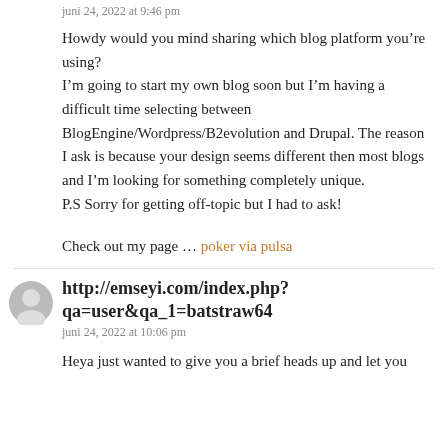juni 24, 2022 at 9:46 pm
Howdy would you mind sharing which blog platform you're using?
I'm going to start my own blog soon but I'm having a difficult time selecting between BlogEngine/Wordpress/B2evolution and Drupal. The reason I ask is because your design seems different then most blogs and I'm looking for something completely unique.
P.S Sorry for getting off-topic but I had to ask!
Check out my page … poker via pulsa
http://emseyi.com/index.php?qa=user&qa_1=batstraw64
juni 24, 2022 at 10:06 pm
Heya just wanted to give you a brief heads up and let you